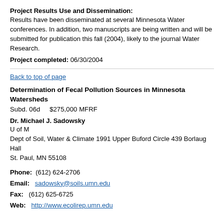Project Results Use and Dissemination:
Results have been disseminated at several Minnesota Water conferences. In addition, two manuscripts are being written and will be submitted for publication this fall (2004), likely to the journal Water Research.
Project completed: 06/30/2004
Back to top of page
Determination of Fecal Pollution Sources in Minnesota Watersheds
Subd. 06d    $275,000 MFRF
Dr. Michael J. Sadowsky
U of M
Dept of Soil, Water & Climate 1991 Upper Buford Circle 439 Borlaug Hall
St. Paul, MN 55108
Phone: (612) 624-2706
Email: sadowsky@soils.umn.edu
Fax: (612) 625-6725
Web: http://www.ecolirep.umn.edu